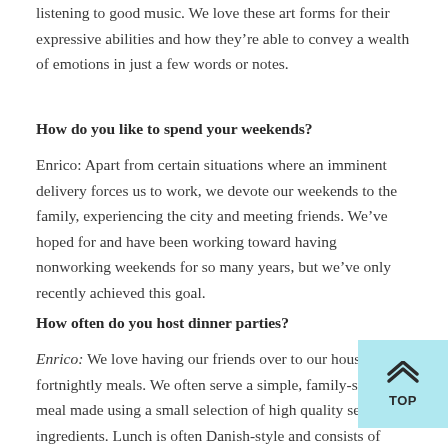listening to good music. We love these art forms for their expressive abilities and how they're able to convey a wealth of emotions in just a few words or notes.
How do you like to spend your weekends?
Enrico: Apart from certain situations where an imminent delivery forces us to work, we devote our weekends to the family, experiencing the city and meeting friends. We've hoped for and have been working toward having nonworking weekends for so many years, but we've only recently achieved this goal.
How often do you host dinner parties?
Enrico: We love having our friends over to our house for fortnightly meals. We often serve a simple, family-style meal made using a small selection of high quality seasonal ingredients. Lunch is often Danish-style and consists of bread and an assortment of Scandinavian root vegetables.